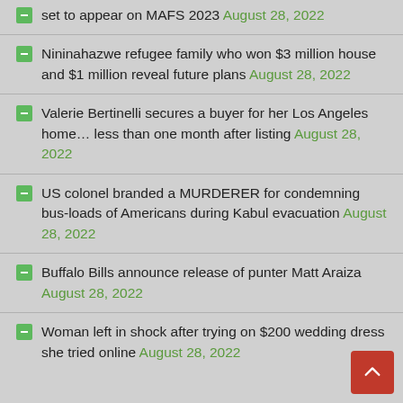set to appear on MAFS 2023 August 28, 2022
Nininahazwe refugee family who won $3 million house and $1 million reveal future plans August 28, 2022
Valerie Bertinelli secures a buyer for her Los Angeles home… less than one month after listing August 28, 2022
US colonel branded a MURDERER for condemning bus-loads of Americans during Kabul evacuation August 28, 2022
Buffalo Bills announce release of punter Matt Araiza August 28, 2022
Woman left in shock after trying on $200 wedding dress she tried online August 28, 2022